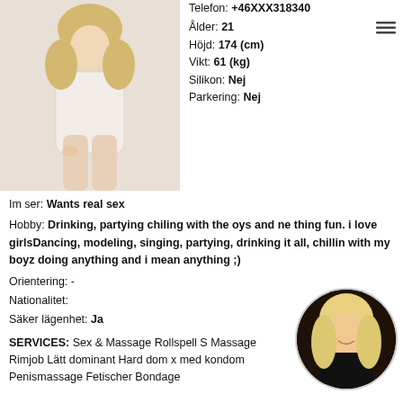[Figure (photo): Photo of a person in white lace bodysuit]
Telefon: +46XXX318340
Ålder: 21
Höjd: 174 (cm)
Vikt: 61 (kg)
Silikon: Nej
Parkering: Nej
Im ser: Wants real sex
Hobby: Drinking, partying chiling with the oys and ne thing fun. i love girlsDancing, modeling, singing, partying, drinking it all, chillin with my boyz doing anything and i mean anything ;)
Orientering: -
Nationalitet:
Säker lägenhet: Ja
SERVICES: Sex & Massage Rollspell S Massage Rimjob Lätt dominant Hard dom x med kondom Penismassage Fetischer Bondage
[Figure (photo): Circular thumbnail photo of a person with light hair]